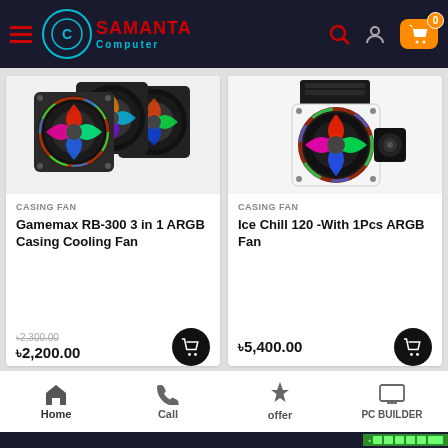Samanta Computer - header navigation
[Figure (photo): Three RGB ARGB casing fans side by side, Gamemax RB-300]
[Figure (photo): Ice Chill 120 RGB ARGB cooling fan with one fan unit]
CASING FAN
Gamemax RB-300 3 in 1 ARGB Casing Cooling Fan
৳2,300.00 (strikethrough) ৳2,200.00
CASING FAN
Ice Chill 120 -With 1Pcs ARGB Fan
৳5,400.00
Home | Call | offer | PC BUILDER